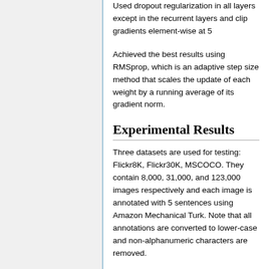Used dropout regularization in all layers except in the recurrent layers and clip gradients element-wise at 5
Achieved the best results using RMSprop, which is an adaptive step size method that scales the update of each weight by a running average of its gradient norm.
Experimental Results
Three datasets are used for testing: Flickr8K, Flickr30K, MSCOCO. They contain 8,000, 31,000, and 123,000 images respectively and each image is annotated with 5 sentences using Amazon Mechanical Turk. Note that all annotations are converted to lower-case and non-alphanumeric characters are removed.